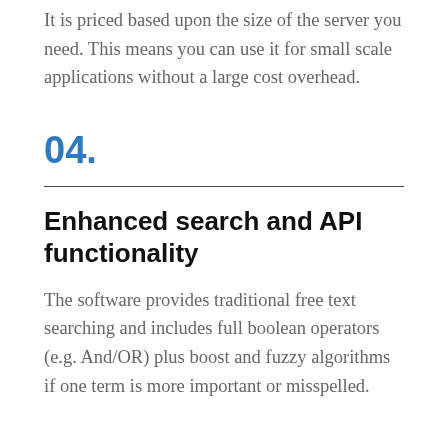It is priced based upon the size of the server you need.  This means you can use it for small scale applications without a large cost overhead.
04.
Enhanced search and API functionality
The software provides traditional free text searching and includes full boolean operators (e.g. And/OR) plus boost and fuzzy algorithms if one term is more important or misspelled.